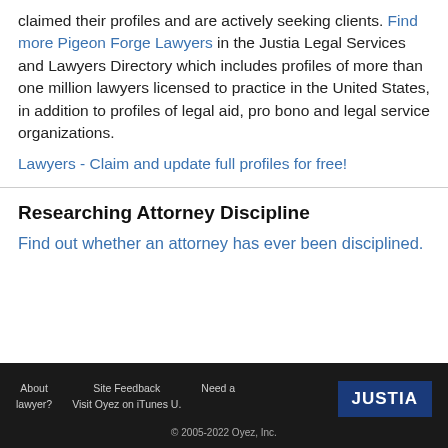claimed their profiles and are actively seeking clients. Find more Pigeon Forge Lawyers in the Justia Legal Services and Lawyers Directory which includes profiles of more than one million lawyers licensed to practice in the United States, in addition to profiles of legal aid, pro bono and legal service organizations.
Lawyers - Claim and update full profiles for free!
Researching Attorney Discipline
Find out whether an attorney has ever been disciplined.
About lawyer? | Site Feedback Visit Oyez on iTunes U. | Need a | JUSTIA | © 2005-2022 Oyez, Inc.